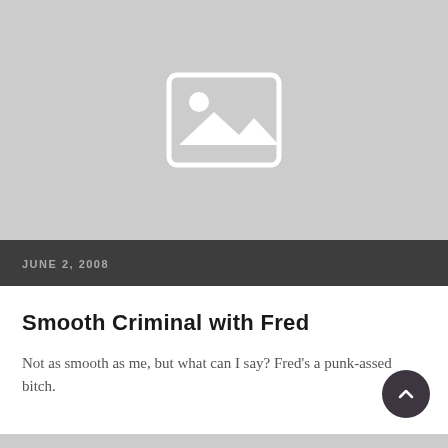[Figure (photo): Image placeholder with mountain/landscape icon on grey background]
JUNE 2, 2008
Smooth Criminal with Fred
Not as smooth as me, but what can I say? Fred's a punk-assed bitch.